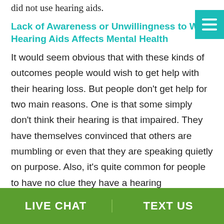did not use hearing aids.
Lack of Awareness or Unwillingness to Wear Hearing Aids Affects Mental Health
It would seem obvious that with these kinds of outcomes people would wish to get help with their hearing loss. But people don't get help for two main reasons. One is that some simply don't think their hearing is that impaired. They have themselves convinced that others are mumbling or even that they are speaking quietly on purpose. Also, it's quite common for people to have no clue they have a hearing impairment. It seems, to them, that people don't like to talk to them.
If you are someone who regularly thinks people are
LIVE CHAT   TEXT US